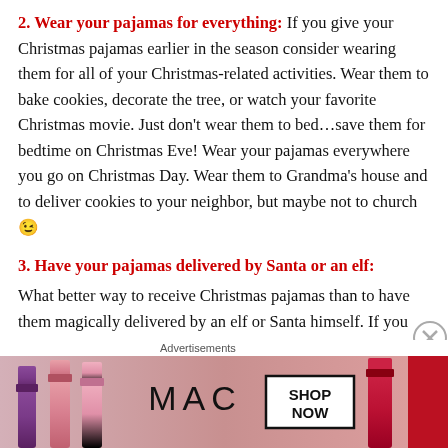2. Wear your pajamas for everything: If you give your Christmas pajamas earlier in the season consider wearing them for all of your Christmas-related activities. Wear them to bake cookies, decorate the tree, or watch your favorite Christmas movie. Just don't wear them to bed…save them for bedtime on Christmas Eve! Wear your pajamas everywhere you go on Christmas Day. Wear them to Grandma's house and to deliver cookies to your neighbor, but maybe not to church 😉
3. Have your pajamas delivered by Santa or an elf: What better way to receive Christmas pajamas than to have them magically delivered by an elf or Santa himself. If you have an Elf on a Shelf or an Elf Magic elf, they...
[Figure (illustration): MAC cosmetics advertisement banner showing lipsticks (purple, pink shades, red) with MAC logo and SHOP NOW button]